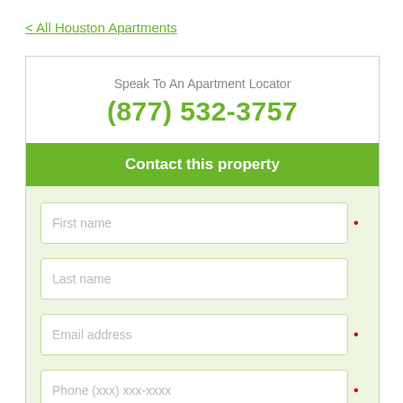< All Houston Apartments
Speak To An Apartment Locator
(877) 532-3757
Contact this property
First name
Last name
Email address
Phone (xxx) xxx-xxxx